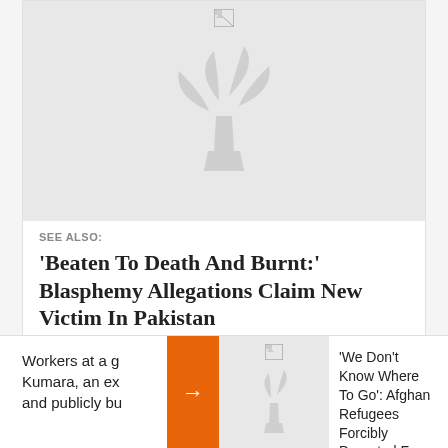[Figure (photo): Image placeholder with broken image icon and faint logo watermark on gray background]
SEE ALSO:
'Beaten To Death And Burnt:' Blasphemy Allegations Claim New Victim In Pakistan
Workers at a g... Kumara, an ex... and publicly bu...
[Figure (photo): Small image placeholder with broken image icon and faint logo on gray background]
'We Don't Know Where To Go': Afghan Refugees Forcibly Deported From Tajikistan